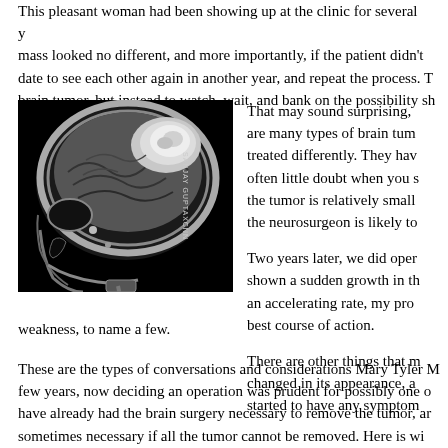This pleasant woman had been showing up at the clinic for several years... mass looked no different, and more importantly, if the patient didn't... date to see each other again in another year, and repeat the process. T... brain tumor, but instead to watch, wait, and bank on the possibility sh...
[Figure (photo): MRI scan of a human head in sagittal view showing a brain tumor in the upper frontal region. Black and white medical imaging. Watermark reading 'SANJAY GUPTAXCNN' along the right side.]
That may sound surprising, are many types of brain tum... treated differently. They hav... often little doubt when you s... the tumor is relatively small... the neurosurgeon is likely to...
Two years later, we did oper... shown a sudden growth in th... an accelerating rate, my pro... best course of action.
There are other things that m... changed in its appearance, a... started to have any symptom... weakness, to name a few.
These are the types of conversations and considerations Mary Tyler M... few years, now deciding an operation was prudent for possibly one o... have already had the brain surgery necessary to remove the tumor, ar... sometimes necessary if all the tumor cannot be removed. Here is wi...